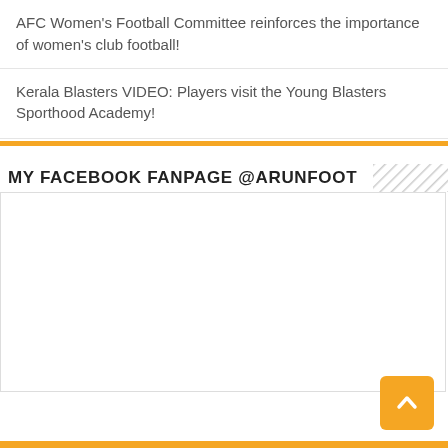AFC Women's Football Committee reinforces the importance of women's club football!
Kerala Blasters VIDEO: Players visit the Young Blasters Sporthood Academy!
MY FACEBOOK FANPAGE @ARUNFOOT
[Figure (other): Empty white Facebook fanpage embed area]